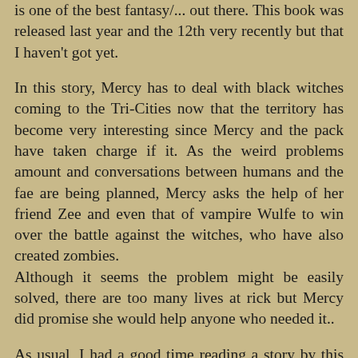is one of the best fantasy/... out there. This book was released last year and the 12th very recently but that I haven't got yet.

In this story, Mercy has to deal with black witches coming to the Tri-Cities now that the territory has become very interesting since Mercy and the pack have taken charge if it. As the weird problems amount and conversations between humans and the fae are being planned, Mercy asks the help of her friend Zee and even that of vampire Wulfe to win over the battle against the witches, who have also created zombies.
Although it seems the problem might be easily solved, there are too many lives at rick but Mercy did promise she would help anyone who needed it..

As usual, I had a good time reading a story by this author. I'm a fan of the world this author created, both for this series and for the Alpha/Omega one, which concur.
I think the author has a good imagination but more than that, she is extremely talented in putting things together. It also keeps on fascinating me how every scene, every sentence seems to be important for what is happening. This means!!